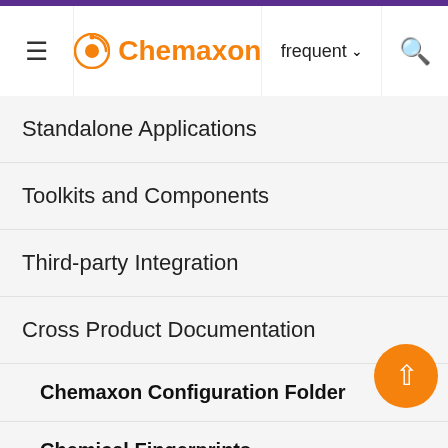Chemaxon | frequent | search
Standalone Applications
Toolkits and Components
Third-party Integration
Cross Product Documentation
Chemaxon Configuration Folder
Chemical Fingerprints
Chemical Terms
File Formats
Input and Output System
...systems are interpreted as aromatic. • F... m... ri... s... a... t... s... s... b...